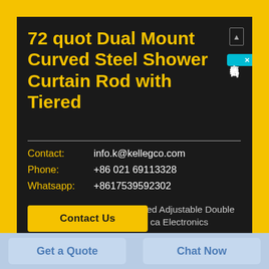72 quot Dual Mount Curved Steel Shower Curtain Rod with Tiered
Contact: info.k@kellegco.com
Phone: +86 021 69113328
Whatsapp: +8617539592302
allen roth 72 in Chrome Curved Adjustable Double Shower Curtain Rod Amazon ca Electronics
Contact Us
Get a Quote
Chat Now